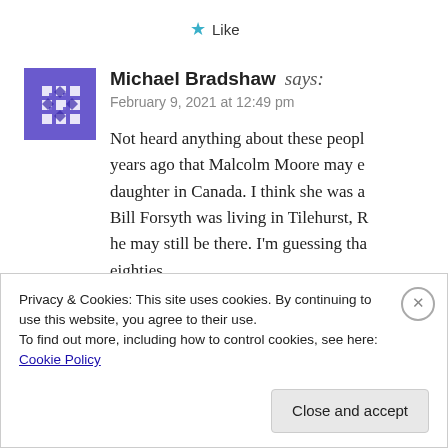★ Like
Michael Bradshaw says: February 9, 2021 at 12:49 pm
Not heard anything about these people years ago that Malcolm Moore may e daughter in Canada. I think she was a Bill Forsyth was living in Tilehurst, R he may still be there. I'm guessing tha eighties. Terry Raymond is a name I had forgo very smartly dressed chap who was w
Privacy & Cookies: This site uses cookies. By continuing to use this website, you agree to their use.
To find out more, including how to control cookies, see here: Cookie Policy
Close and accept